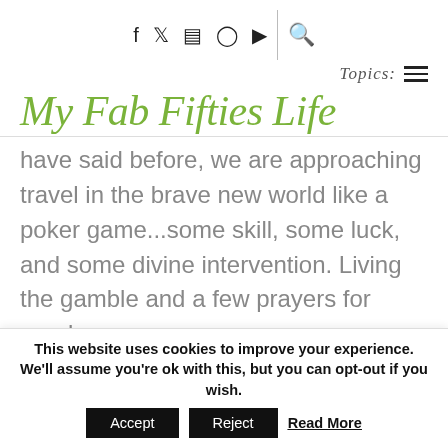Social icons: f, Twitter, Instagram, Pinterest, YouTube, Search | Topics: ☰
My Fab Fifties Life
have said before, we are approaching travel in the brave new world like a poker game...some skill, some luck, and some divine intervention. Living the gamble and a few prayers for good measure.
This website uses cookies to improve your experience. We'll assume you're ok with this, but you can opt-out if you wish. Accept  Reject  Read More